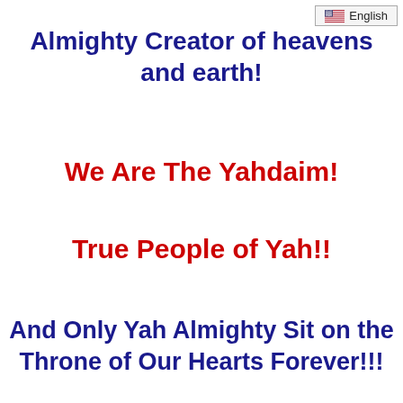English
Almighty Creator of heavens and earth!
We Are The Yahdaim!
True People of Yah!!
And Only Yah Almighty Sit on the Throne of Our Hearts Forever!!!